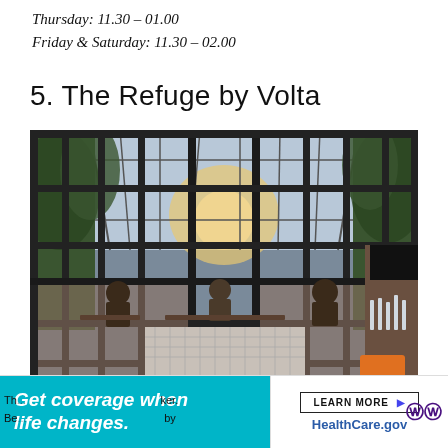Thursday: 11.30 – 01.00
Friday & Saturday: 11.30 – 02.00
5. The Refuge by Volta
[Figure (photo): Interior photo of The Refuge by Volta restaurant/bar showing large black-framed steel windows overlooking an atrium with trees, people dining, decorative tiled floor, and glassware on a bar in the foreground.]
Th... ker. Be... by